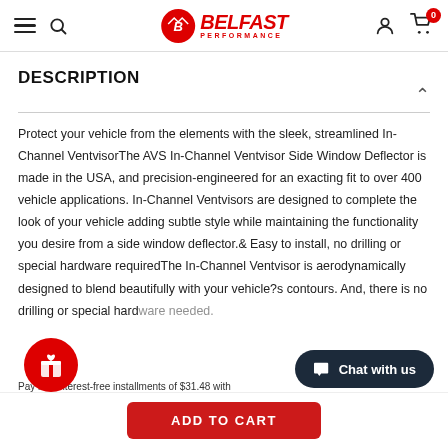Belfast Performance — navigation header with hamburger menu, search, logo, account, and cart icons
DESCRIPTION
Protect your vehicle from the elements with the sleek, streamlined In-Channel VentvisorThe AVS In-Channel Ventvisor Side Window Deflector is made in the USA, and precision-engineered for an exacting fit to over 400 vehicle applications. In-Channel Ventvisors are designed to complete the look of your vehicle adding subtle style while maintaining the functionality you desire from a side window deflector.& Easy to install, no drilling or special hardware requiredThe In-Channel Ventvisor is aerodynamically designed to blend beautifully with your vehicle?s contours. And, there is no drilling or special hardware needed.
Pay in 4 interest-free installments of $31.48 with